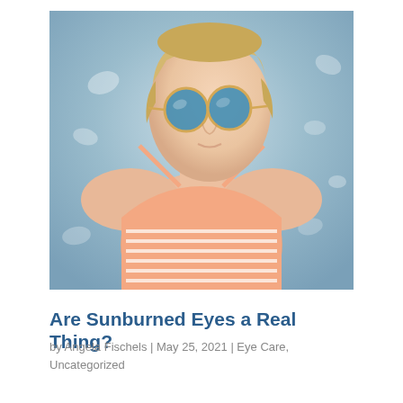[Figure (photo): Young woman with blue mirrored round sunglasses and a striped orange-and-white bikini top, sitting near water with light reflections in the background, shot from slightly above.]
Are Sunburned Eyes a Real Thing?
by Angela Fischels | May 25, 2021 | Eye Care, Uncategorized